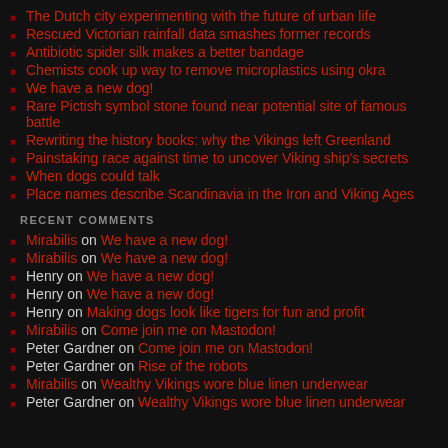The Dutch city experimenting with the future of urban life
Rescued Victorian rainfall data smashes former records
Antibiotic spider silk makes a better bandage
Chemists cook up way to remove microplastics using okra
We have a new dog!
Rare Pictish symbol stone found near potential site of famous battle
Rewriting the history books: why the Vikings left Greenland
Painstaking race against time to uncover Viking ship's secrets
When dogs could talk
Place names describe Scandinavia in the Iron and Viking Ages
RECENT COMMENTS
Mirabilis on We have a new dog!
Mirabilis on We have a new dog!
Henry on We have a new dog!
Henry on We have a new dog!
Henry on Making dogs look like tigers for fun and profit
Mirabilis on Come join me on Mastodon!
Peter Gardner on Come join me on Mastodon!
Peter Gardner on Rise of the robots
Mirabilis on Wealthy Vikings wore blue linen underwear
Peter Gardner on Wealthy Vikings wore blue linen underwear